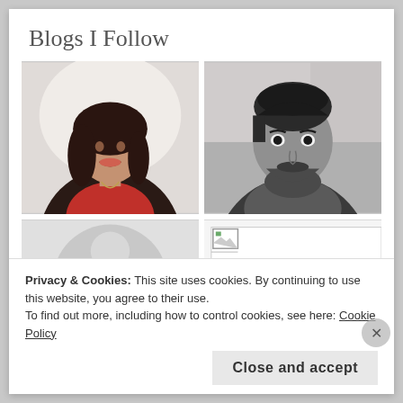Blogs I Follow
[Figure (photo): Color photo of a smiling woman with long dark curly hair, wearing a dark blazer and red top]
[Figure (photo): Black and white photo of a bearded man looking to the side]
[Figure (photo): Partial circular avatar placeholder, light gray]
[Figure (photo): Small broken/loading image icon placeholder]
Privacy & Cookies: This site uses cookies. By continuing to use this website, you agree to their use.
To find out more, including how to control cookies, see here: Cookie Policy
Close and accept